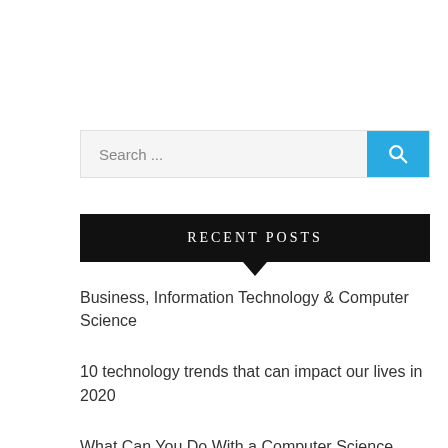[Figure (other): Search bar with gray input field showing 'Search ...' placeholder text and a cyan/blue search button with a magnifying glass icon]
RECENT POSTS
Business, Information Technology & Computer Science
10 technology trends that can impact our lives in 2020
What Can You Do With a Computer Science